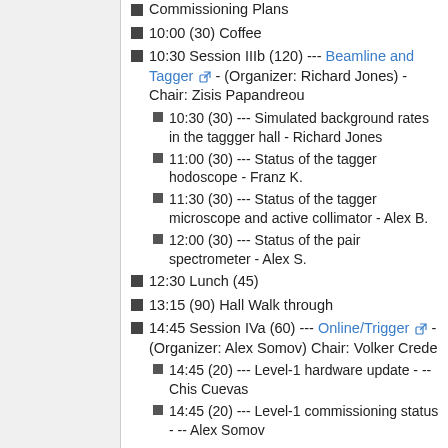Commissioning Plans
10:00 (30) Coffee
10:30 Session IIIb (120) --- Beamline and Tagger - (Organizer: Richard Jones) - Chair: Zisis Papandreou
10:30 (30) --- Simulated background rates in the taggger hall - Richard Jones
11:00 (30) --- Status of the tagger hodoscope - Franz K.
11:30 (30) --- Status of the tagger microscope and active collimator - Alex B.
12:00 (30) --- Status of the pair spectrometer - Alex S.
12:30 Lunch (45)
13:15 (90) Hall Walk through
14:45 Session IVa (60) --- Online/Trigger - (Organizer: Alex Somov) Chair: Volker Crede
14:45 (20) --- Level-1 hardware update - -- Chis Cuevas
14:45 (20) --- Level-1 commissioning status - -- Alex Somov